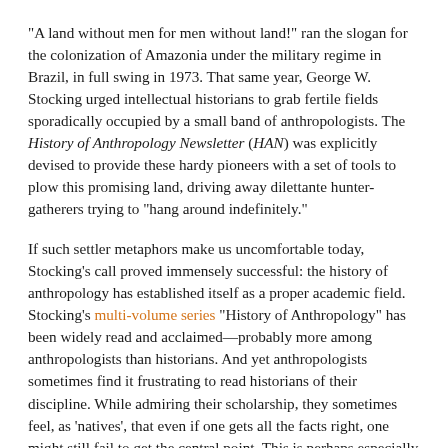“A land without men for men without land!” ran the slogan for the colonization of Amazonia under the military regime in Brazil, in full swing in 1973. That same year, George W. Stocking urged intellectual historians to grab fertile fields sporadically occupied by a small band of anthropologists. The History of Anthropology Newsletter (HAN) was explicitly devised to provide these hardy pioneers with a set of tools to plow this promising land, driving away dilettante hunter-gatherers trying to “hang around indefinitely.”
If such settler metaphors make us uncomfortable today, Stocking’s call proved immensely successful: the history of anthropology has established itself as a proper academic field. Stocking’s multi-volume series “History of Anthropology” has been widely read and acclaimed—probably more among anthropologists than historians. And yet anthropologists sometimes find it frustrating to read historians of their discipline. While admiring their scholarship, they sometimes feel, as ‘natives’, that even if one gets all the facts right, one might still fail to get the central point. This is perhaps especially true when it comes to historicizing fieldwork. Stocking’s deflationary